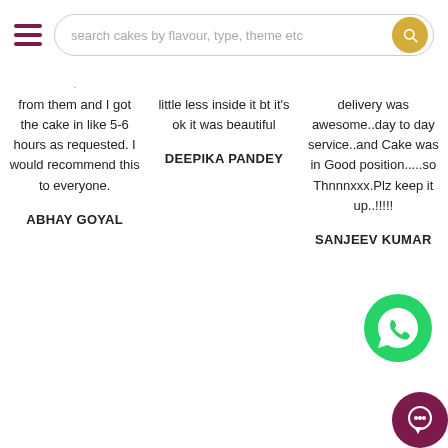[Figure (screenshot): App header with hamburger menu icon and search bar labeled 'search cakes by flavour, type, theme etc' with a yellow circular search button]
from them and I got the cake in like 5-6 hours as requested. I would recommend this to everyone.
ABHAY GOYAL
little less inside it bt it's ok it was beautiful
DEEPIKA PANDEY
delivery was awesome..day to day service..and Cake was in Good position.....so Thnnnxxx.Plz keep it up..!!!!!
SANJEEV KUMAR
[Figure (logo): WhatsApp green circular icon]
[Figure (logo): Dark pink/maroon circular chat bubble icon]